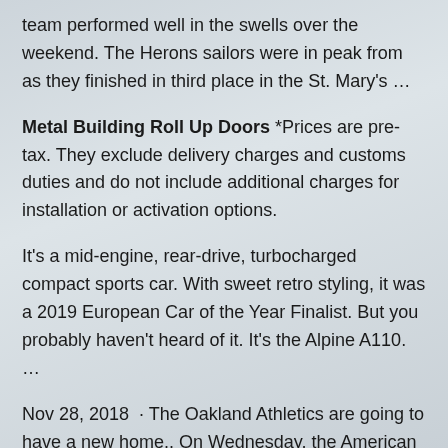team performed well in the swells over the weekend. The Herons sailors were in peak from as they finished in third place in the St. Mary's …
Metal Building Roll Up Doors *Prices are pre-tax. They exclude delivery charges and customs duties and do not include additional charges for installation or activation options.
It's a mid-engine, rear-drive, turbocharged compact sports car. With sweet retro styling, it was a 2019 European Car of the Year Finalist. But you probably haven't heard of it. It's the Alpine A110. …
Nov 28, 2018  · The Oakland Athletics are going to have a new home.. On Wednesday, the American League West team announced its plan to build a new ballpark at Howard Terminal:
To log into the new Shaklee.com for the first time: Click Log In, then click Forgot Password & follow prompts. Issues? Email